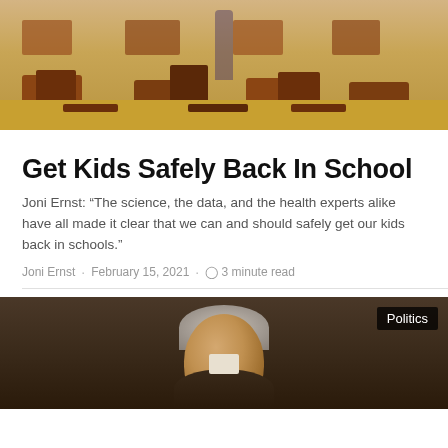[Figure (photo): Classroom scene with students at desks and a teacher walking in the background]
Get Kids Safely Back In School
Joni Ernst: “The science, the data, and the health experts alike have all made it clear that we can and should safely get our kids back in schools.”
Joni Ernst · February 15, 2021 · ⏱ 3 minute read
[Figure (photo): Portrait painting of a historical figure (appears to be Alexander Hamilton), with a Politics badge overlay in the top right corner]